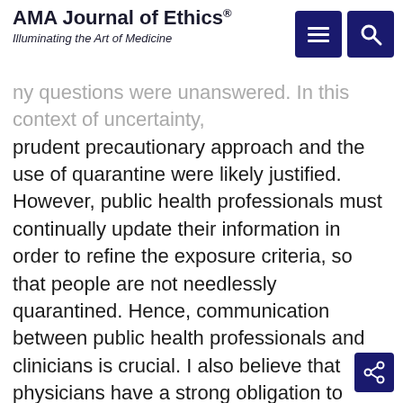AMA Journal of Ethics® Illuminating the Art of Medicine
ny questions were unanswered. In this context of uncertainty, prudent precautionary approach and the use of quarantine were likely justified. However, public health professionals must continually update their information in order to refine the exposure criteria, so that people are not needlessly quarantined. Hence, communication between public health professionals and clinicians is crucial. I also believe that physicians have a strong obligation to support public health in the control of communicable disease. Their actions in support of public health mandates are crucial in securing public credibility. Though many of these actions may be controversial, particularly when they begin to affect the livelihood of individuals, this is not an excuse for deviating from a control strategy.